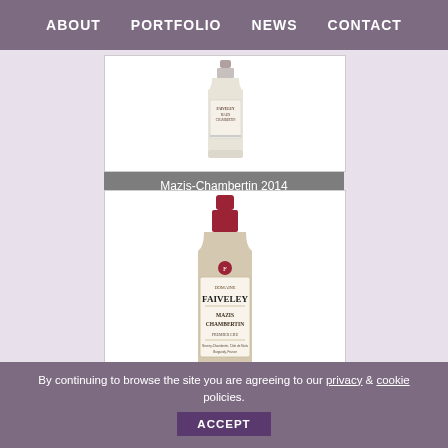ABOUT   PORTFOLIO   NEWS   CONTACT
[Figure (photo): Faiveley Mazis-Chambertin 2014 wine bottle (partial view, top of page)]
Mazis-Chambertin 2014
[Figure (photo): Faiveley Mazis-Chambertin 2013 wine bottle, full view showing red-capped bottle with cream label]
Mazis-Chambertin 2013
By continuing to browse the site you are agreeing to our privacy & cookie policies. ACCEPT